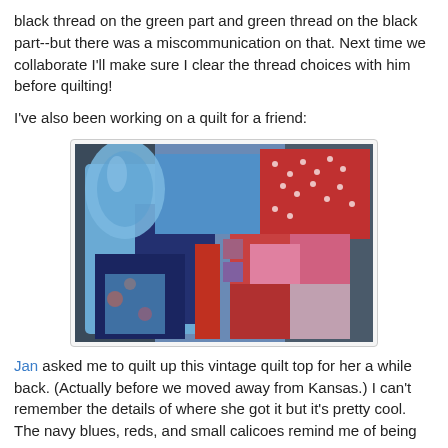black thread on the green part and green thread on the black part--but there was a miscommunication on that. Next time we collaborate I'll make sure I clear the thread choices with him before quilting!
I've also been working on a quilt for a friend:
[Figure (photo): A colorful patchwork quilt folded and draped, showing navy blue, red, and multi-colored floral calico fabric patches.]
Jan asked me to quilt up this vintage quilt top for her a while back. (Actually before we moved away from Kansas.) I can't remember the details of where she got it but it's pretty cool. The navy blues, reds, and small calicoes remind me of being